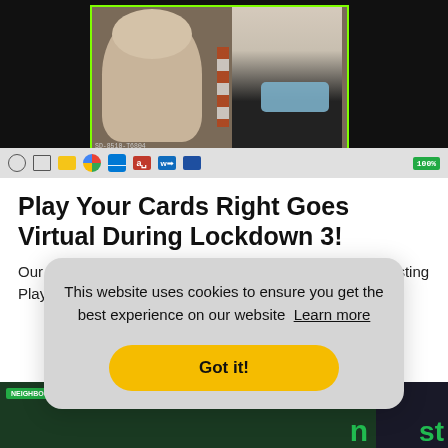[Figure (screenshot): Screenshot of a video call on a Windows desktop showing two people, one elderly man without a mask and one woman wearing a blue surgical mask, with a green-bordered video frame. Windows taskbar visible at bottom of screenshot.]
Play Your Cards Right Goes Virtual During Lockdown 3!
Our Neighbours Connect Southmead team have been hosting Play Your Cards Right for some time
This website uses cookies to ensure you get the best experience on our website  Learn more
Got it!